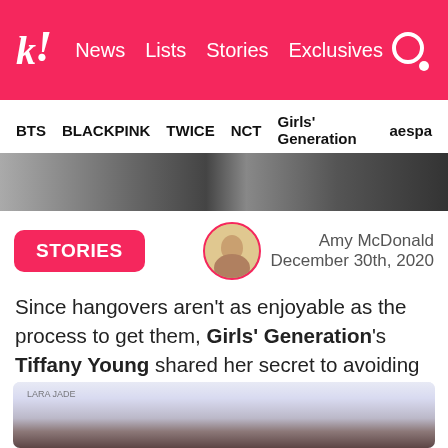k! News Lists Stories Exclusives
BTS BLACKPINK TWICE NCT Girls' Generation aespa
[Figure (photo): Cropped banner image showing partial photos of K-pop artists]
STORIES
Amy McDonald December 30th, 2020
Since hangovers aren't as enjoyable as the process to get them, Girls' Generation's Tiffany Young shared her secret to avoiding them altogether.
[Figure (photo): Photo of Tiffany Young with dark hair against a light blue background]